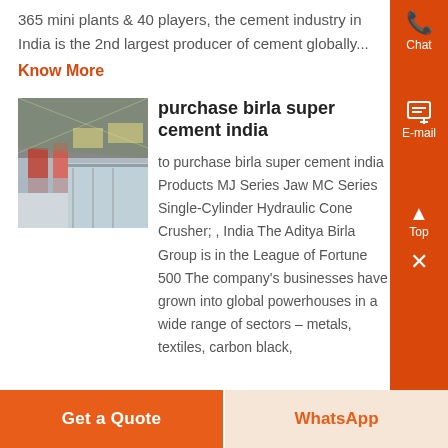365 mini plants & 40 players, the cement industry in India is the 2nd largest producer of cement globally...
Know More
[Figure (photo): Industrial facility interior showing machinery and equipment, likely a cement plant]
purchase birla super cement india
to purchase birla super cement india Products MJ Series Jaw MC Series Single-Cylinder Hydraulic Cone Crusher; , India The Aditya Birla Group is in the League of Fortune 500 The company's businesses have grown into global powerhouses in a wide range of sectors – metals, textiles, carbon black,
Get a Quote
WhatsApp